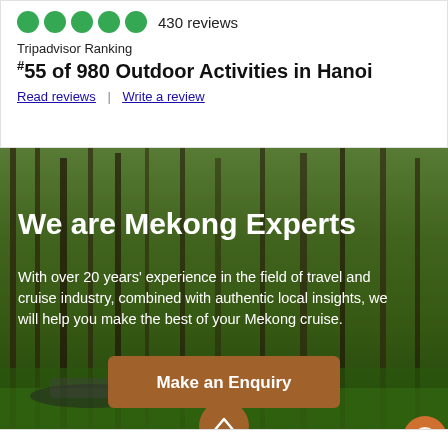430 reviews
Tripadvisor Ranking
#55 of 980 Outdoor Activities in Hanoi
Read reviews | Write a review
[Figure (photo): Mekong river scene with people in boats among green water and tall trees]
We are Mekong Experts
With over 20 years' experience in the field of travel and cruise industry, combined with authentic local insights, we will help you make the best of your Mekong cruise.
Make an Enquiry